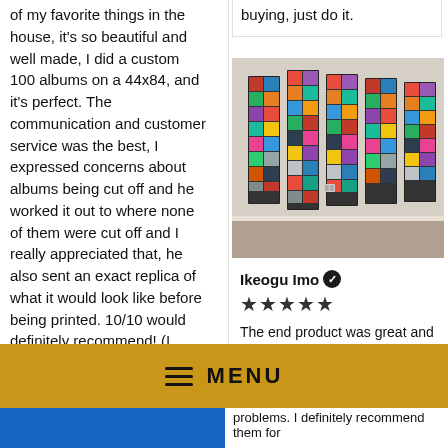of my favorite things in the house, it's so beautiful and well made, I did a custom 100 albums on a 44x84, and it's perfect. The communication and customer service was the best, I expressed concerns about albums being cut off and he worked it out to where none of them were cut off and I really appreciated that, he also sent an exact replica of what it would look like before being printed. 10/10 would definitely recommend! (I know they're crooked asf but I'm w
buying, just do it.
[Figure (photo): Photo of multiple vertical canvas panels of album cover collages hanging on a wall in a room.]
Ikeogu Imo ✓
★★★★★
The end product was great and shipped in
problems. I definitely recommend them for
MENU